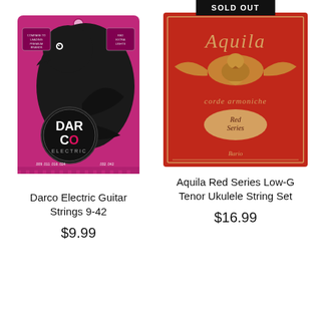[Figure (photo): Darco Electric guitar strings packet, magenta/pink colored packaging featuring a black crow/raven illustration with DARCO ELECTRIC logo, gauge 9-42]
Darco Electric Guitar Strings 9-42
$9.99
[Figure (photo): Aquila Red Series Low-G Tenor Ukulele String Set packaging, red colored with golden Aquila eagle logo and 'Red Series' label. Has SOLD OUT banner overlay.]
Aquila Red Series Low-G Tenor Ukulele String Set
$16.99